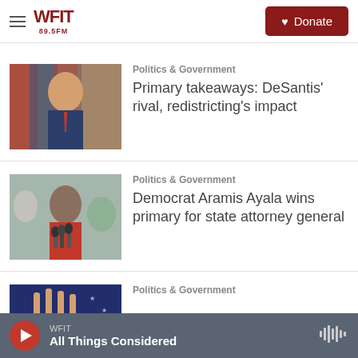WFIT 89.5FM | Donate
Politics & Government
Primary takeaways: DeSantis' rival, redistricting's impact
Politics & Government
Democrat Aramis Ayala wins primary for state attorney general
Politics & Government
WFIT | All Things Considered